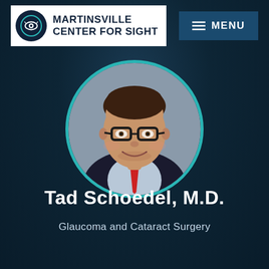[Figure (logo): Martinsville Center for Sight logo with eye icon on dark circular background, white background panel]
MENU
[Figure (photo): Circular headshot photo of Dr. Tad Schoedel, a young man with brown hair, wearing glasses, dark suit jacket, light blue shirt and red tie, smiling, with teal circular border]
Tad Schoedel, M.D.
Glaucoma and Cataract Surgery